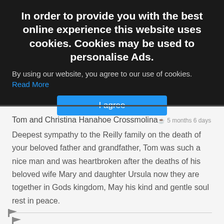In order to provide you with the best online experience this website uses cookies. Cookies may be used to personalise Ads.
By using our website, you agree to our use of cookies. Read More
I agree
Tom and Christina Hanahoe Crossmolina 5 months 6 days
Deepest sympathy to the Reilly family on the death of your beloved father and grandfather, Tom was such a nice man and was heartbroken after the deaths of his beloved wife Mary and daughter Ursula now they are together in Gods kingdom, May his kind and gentle soul rest in peace.